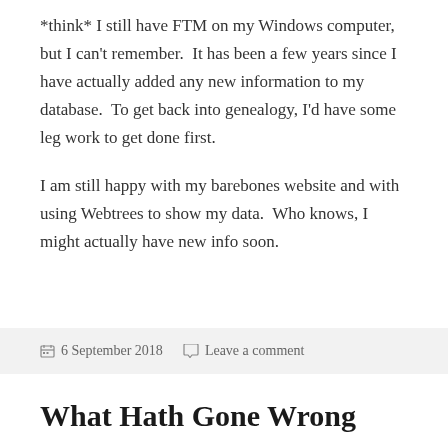*think* I still have FTM on my Windows computer, but I can't remember.  It has been a few years since I have actually added any new information to my database.  To get back into genealogy, I'd have some leg work to get done first.
I am still happy with my barebones website and with using Webtrees to show my data.  Who knows, I might actually have new info soon.
6 September 2018   Leave a comment
What Hath Gone Wrong
Lots